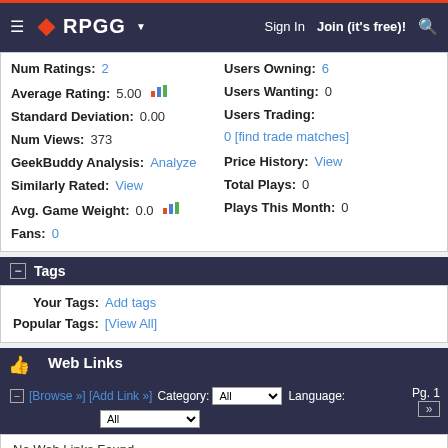RPGG — Sign In | Join (it's free)! | Search
| Label | Value | Label | Value |
| --- | --- | --- | --- |
| Num Ratings: | 2 | Users Owning: | 6 |
| Average Rating: | 5.00 | Users Wanting: | 0 |
| Standard Deviation: | 0.00 | Users Trading: | 0 [find trade matches] |
| Num Views: | 373 | Price History: | View |
| GeekBuddy Analysis: | Analyze | Total Plays: | 0 |
| Similarly Rated: | View | Plays This Month: | 0 |
| Avg. Game Weight: | 0.0 |  |  |
| Fans: | 0 |  |  |
Tags
Your Tags: Add tags
Popular Tags: [View All]
Web Links
[Browse »] [Add Link »] Category: All  Language: All  Pg. 1
No Web Links Found
More Information (partial)